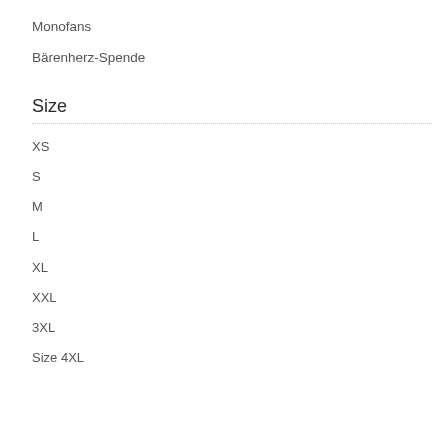Monofans
Bärenherz-Spende
Size
XS
S
M
L
XL
XXL
3XL
Size 4XL